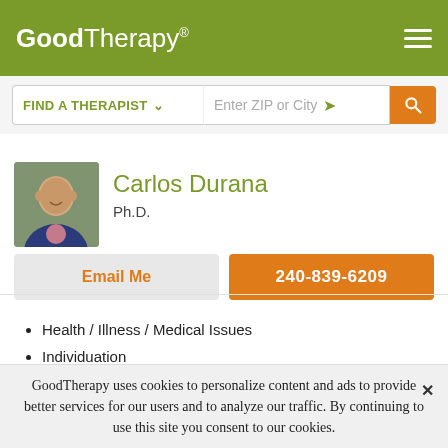GoodTherapy®
FIND A THERAPIST  Enter ZIP or City
Carlos Durana
Ph.D.
Email Me
240-839-6209
Health / Illness / Medical Issues
Individuation
LGBT (Lesbian, Gay, Bisexual, and Transgender) Issues
GoodTherapy uses cookies to personalize content and ads to provide better services for our users and to analyze our traffic. By continuing to use this site you consent to our cookies.